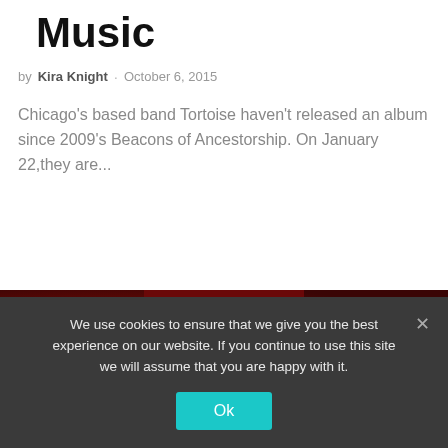Music
by Kira Knight · October 6, 2015
Chicago's based band Tortoise haven't released an album since 2009's Beacons of Ancestorship. On January 22,they are...
[Figure (photo): A pale figure with outstretched arms against a backdrop of red roses]
We use cookies to ensure that we give you the best experience on our website. If you continue to use this site we will assume that you are happy with it.